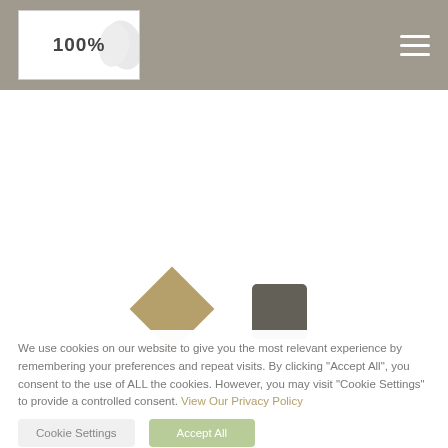100%
[Figure (illustration): Two decorative shapes: a gold/tan diamond (rotated square) and a dark grey square, centered on a white background area]
We use cookies on our website to give you the most relevant experience by remembering your preferences and repeat visits. By clicking "Accept All", you consent to the use of ALL the cookies. However, you may visit "Cookie Settings" to provide a controlled consent. View Our Privacy Policy
Cookie Settings
Accept All